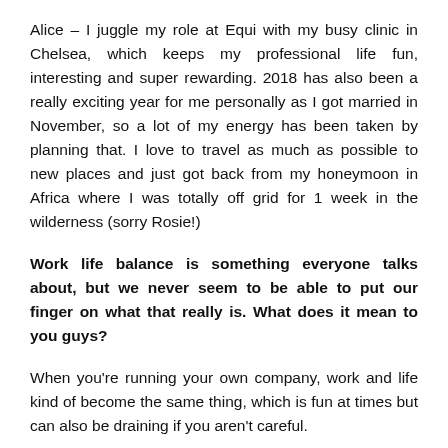Alice – I juggle my role at Equi with my busy clinic in Chelsea, which keeps my professional life fun, interesting and super rewarding. 2018 has also been a really exciting year for me personally as I got married in November, so a lot of my energy has been taken by planning that. I love to travel as much as possible to new places and just got back from my honeymoon in Africa where I was totally off grid for 1 week in the wilderness (sorry Rosie!)
Work life balance is something everyone talks about, but we never seem to be able to put our finger on what that really is. What does it mean to you guys?
When you're running your own company, work and life kind of become the same thing, which is fun at times but can also be draining if you aren't careful.
Even though we sell nutritional supplements we employ a lot of technology to streamline the day-to-day functionality of the